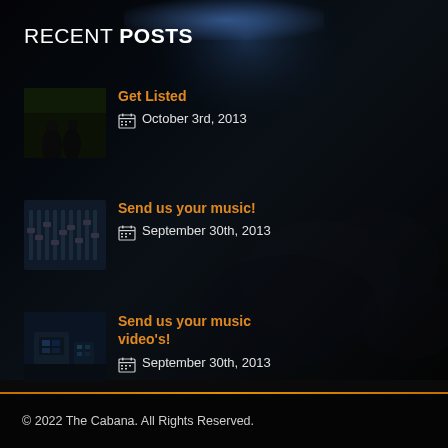RECENT POSTS
Get Listed — October 3rd, 2013
Send us your music! — September 30th, 2013
Send us your music video's! — September 30th, 2013
© 2022 The Cabana. All Rights Reserved.